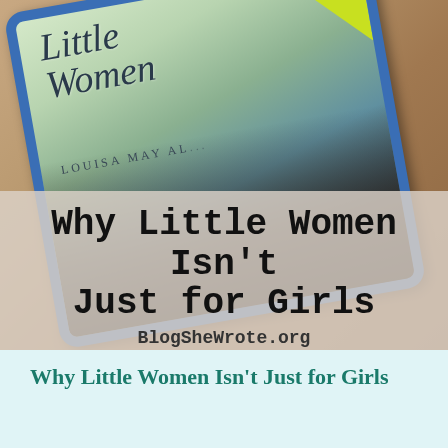[Figure (photo): Photo of a tablet device displaying the audiobook cover of 'Little Women' by Louisa May Alcott on the Audible app, placed on a wooden surface. The tablet has a blue case. Overlaid on the lower portion of the image is text reading 'Why Little Women Isn't Just for Girls' in large typewriter font, with 'BlogSheWrote.org' below it.]
Why Little Women Isn't Just for Girls